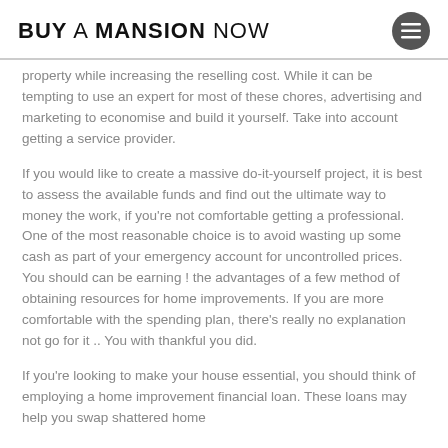BUY A MANSION NOW
property while increasing the reselling cost. While it can be tempting to use an expert for most of these chores, advertising and marketing to economise and build it yourself. Take into account getting a service provider.
If you would like to create a massive do-it-yourself project, it is best to assess the available funds and find out the ultimate way to money the work, if you're not comfortable getting a professional. One of the most reasonable choice is to avoid wasting up some cash as part of your emergency account for uncontrolled prices. You should can be earning ! the advantages of a few method of obtaining resources for home improvements. If you are more comfortable with the spending plan, there's really no explanation not go for it .. You with thankful you did.
If you're looking to make your house essential, you should think of employing a home improvement financial loan. These loans may help you swap shattered home